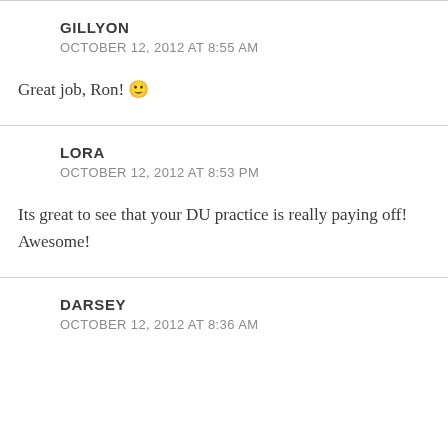GILLYON
OCTOBER 12, 2012 AT 8:55 AM
Great job, Ron! 🙂
LORA
OCTOBER 12, 2012 AT 8:53 PM
Its great to see that your DU practice is really paying off! Awesome!
DARSEY
OCTOBER 12, 2012 AT 8:36 AM